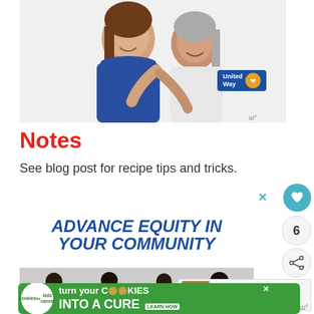[Figure (photo): Two women hugging and smiling — a younger woman with long brown hair in a floral blue dress, and an older woman with gray hair in a white top. United Way logo badge visible.]
Notes
See blog post for recipe tips and tricks.
[Figure (infographic): United Way advertisement with bold blue italic text reading 'ADVANCE EQUITY IN YOUR COMMUNITY' with a group of four smiling people below.]
[Figure (infographic): Cookies for Kids' Cancer advertisement: 'turn your COOKIES into a CURE LEARN HOW' on a green background with a circular white badge.]
[Figure (photo): What's Next panel showing Saltine Toffee Recipe thumbnail with a food image.]